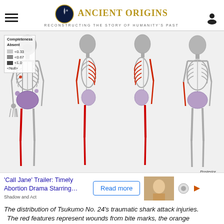Ancient Origins — Reconstructing the story of humanity's past
[Figure (illustration): Four views of a human skeleton (Tsukumo No. 24) showing distribution of traumatic shark attack injuries. Front, left-lateral, right-lateral, and posterior views. Red marks indicate bite wounds, other colors indicate additional injuries. A completeness legend is shown in the upper-left.]
The distribution of Tsukumo No. 24's traumatic shark attack injuries. The red features represent wounds from bite marks, the orange